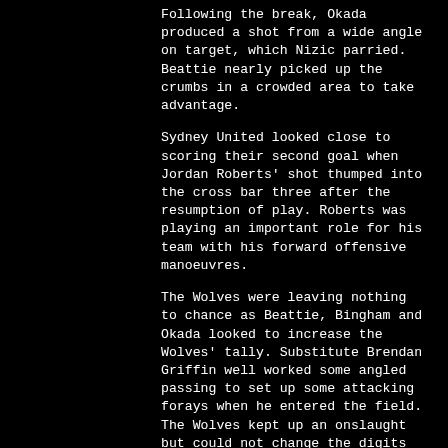Following the break, Okada produced a shot from a wide angle on target, which Nizic parried. Beattie nearly picked up the crumbs in a crowded area to take advantage.
Sydney United looked close to scoring their second goal when Jordan Roberts' shot thumped into the cross bar three after the resumption of play. Roberts was playing an important role for his team with his forward offensive manoeuvres.
The Wolves were leaving nothing to chance as Beattie, Bingham and Okada looked to increase the Wolves' tally. Substitute Brendan Griffin well worked some angled passing to set up some attacking forays when he entered the field. The Wolves kept up an onslaught but could not change the digits on the scorecard.
However, in the seventy-fourth minute Sydney United regained the lead. Substitute Devante Clut pushed his pass to Bilic on the left before he moved it up to Macdonald. He then took McDonald on, before moving backwards and across